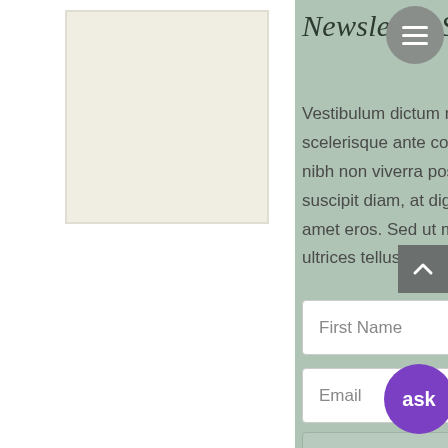[Figure (illustration): Beige/cream colored card or rectangle on white background, left side of page]
Newsletter Subscribe
Vestibulum dictum rutrum nisi, eget scelerisque ante convallis in. Proin lobortis, nibh non viverra posuere, purus metus suscipit diam, at dignissim nulla magna sit amet eros. Sed ut maximus massa, sit amet ultrices tellus.
First Name
Email
Subscribe